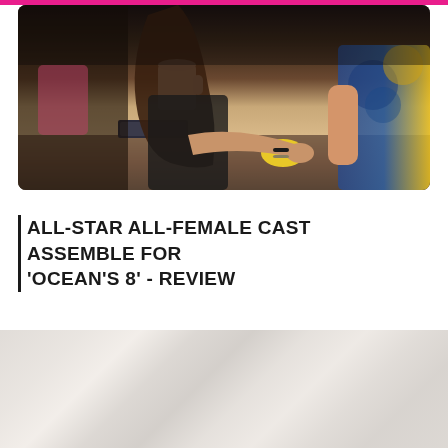[Figure (photo): Photo of women sitting at a table, one with long brown hair reaching forward, another in a blue and yellow tie-dye shirt visible on the right. A white mug and books/tablet visible on the table.]
ALL-STAR ALL-FEMALE CAST ASSEMBLE FOR 'OCEAN'S 8' - REVIEW
[Figure (photo): Faded/watermarked background image, low opacity, appearing to show a similar scene.]